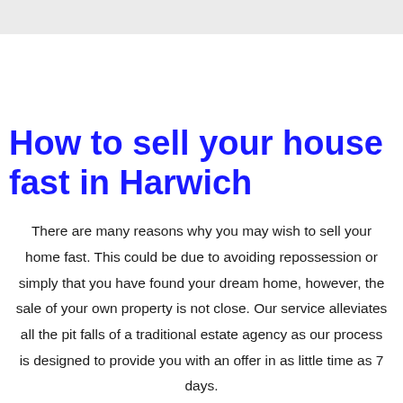How to sell your house fast in Harwich
There are many reasons why you may wish to sell your home fast. This could be due to avoiding repossession or simply that you have found your dream home, however, the sale of your own property is not close. Our service alleviates all the pit falls of a traditional estate agency as our process is designed to provide you with an offer in as little time as 7 days.